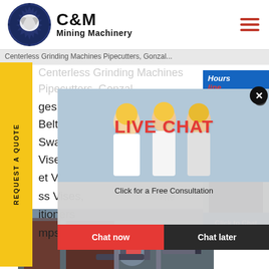[Figure (logo): C&M Mining Machinery logo with eagle/gear icon in dark blue circle]
C&M Mining Machinery
Centerless Grinding Machines Pipecutters, Gonzal ages Notching Cutters, Dies & Belts Endforming Swaging Dies Related Items Vises & Clamps et Vises ss Vises, itioners mps
[Figure (screenshot): Live Chat popup overlay showing workers in yellow hard hats, LIVE CHAT heading in red, Click for a Free Consultation, Chat now and Chat later buttons]
[Figure (photo): Mining/industrial machinery photo at bottom of page]
[Figure (infographic): Right side panel with Hours Online text in blue, support agent photo, Click to Chat button, and Enquiry section]